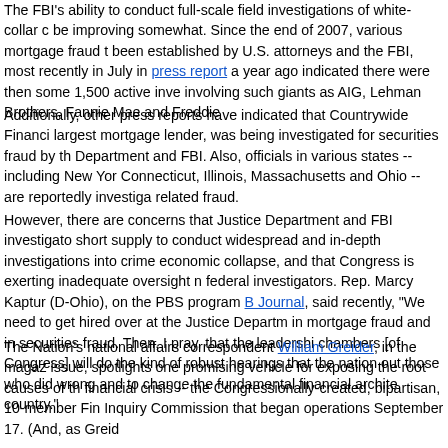The FBI's ability to conduct full-scale field investigations of white-collar c... be improving somewhat. Since the end of 2007, various mortgage fraud t... been established by U.S. attorneys and the FBI, most recently in July in ... press report a year ago indicated there were then some 1,500 active inve... involving such giants as AIG, Lehman Brothers, Fannie Mae and Freddie...
Additionally, other press reports have indicated that Countrywide Financia... largest mortgage lender, was being investigated for securities fraud by th... Department and FBI. Also, officials in various states -- including New Yor... Connecticut, Illinois, Massachusetts and Ohio -- are reportedly investiga... related fraud.
However, there are concerns that Justice Department and FBI investigato... short supply to conduct widespread and in-depth investigations into crime... economic collapse, and that Congress is exerting inadequate oversight n... federal investigators. Rep. Marcy Kaptur (D-Ohio), on the PBS program B... Journal, said recently, "We need to get hired over at the Justice Departm... in mortgage fraud and in securities fraud. Then, I pray, that the leadershi... chambers [of Congress] will do the kind of robust hearings that the nation... out those who did wrong and to change the fundamental financial archite... country."
The Nation's national affairs correspondent William Greider, in the magaz... issue, spotlights one promising vehicle for exposing the root causes of th... financial crisis -- the Congressionally-created, bipartisan, 10-member Fin... Inquiry Commission that began operations September 17. (And, as Greid... was a nonevent for the media," which has "moved on" and seems to rega... crisis as "last year's story.")
The commission is headed by Phil Angelides, the former California state ... quoted Angelides as saying the commission's purpose is "uncovering ...